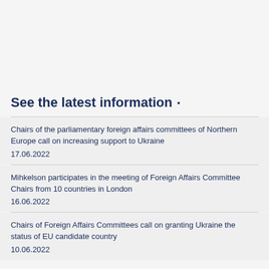See the latest information
Chairs of the parliamentary foreign affairs committees of Northern Europe call on increasing support to Ukraine
17.06.2022
Mihkelson participates in the meeting of Foreign Affairs Committee Chairs from 10 countries in London
16.06.2022
Chairs of Foreign Affairs Committees call on granting Ukraine the status of EU candidate country
10.06.2022